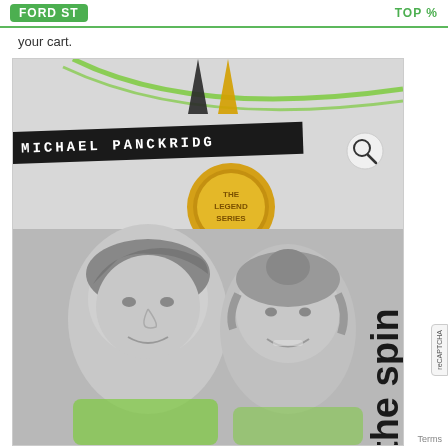FORD ST | TOP %
your cart.
[Figure (illustration): Book cover for 'The Spin' by Michael Panckridge, part of The Legend Series. Features black and white photo of two children (a boy and a girl) smiling, with green swoosh lines, gold medal badge reading 'THE LEGEND SERIES', author name on dark banner, and title 'the spin' written vertically on the right side.]
MICHAEL PANCKRIDGE — the spin (The Legend Series)